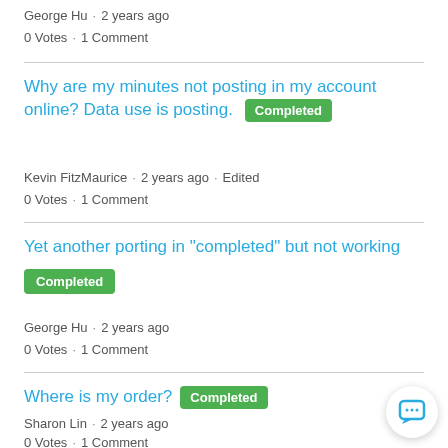George Hu · 2 years ago
0 Votes · 1 Comment
Why are my minutes not posting in my account online? Data use is posting. Completed
Kevin FitzMaurice · 2 years ago · Edited
0 Votes · 1 Comment
Yet another porting in "completed" but not working Completed
George Hu · 2 years ago
0 Votes · 1 Comment
Where is my order? Completed
Sharon Lin · 2 years ago
0 Votes · 1 Comment